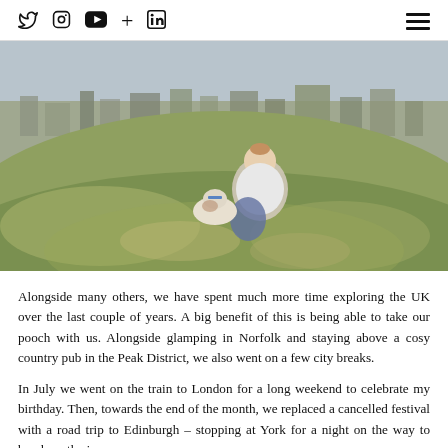Social media icons: Twitter, Instagram, YouTube, Plus, LinkedIn | Hamburger menu
[Figure (photo): A woman sitting on a grassy hillside with a black and white dog (Jack Russell terrier), with a cityscape visible in the background, likely Edinburgh.]
Alongside many others, we have spent much more time exploring the UK over the last couple of years. A big benefit of this is being able to take our pooch with us. Alongside glamping in Norfolk and staying above a cosy country pub in the Peak District, we also went on a few city breaks.
In July we went on the train to London for a long weekend to celebrate my birthday. Then, towards the end of the month, we replaced a cancelled festival with a road trip to Edinburgh – stopping at York for a night on the way to break up the journey –